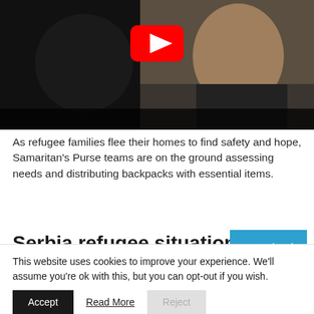[Figure (screenshot): YouTube video thumbnail showing two children, one smiling, with a YouTube play button icon centered at the top.]
As refugee families flee their homes to find safety and hope, Samaritan's Purse teams are on the ground assessing needs and distributing backpacks with essential items.
Serbia refugee situation
This website uses cookies to improve your experience. We'll assume you're ok with this, but you can opt-out if you wish.
Accept   Read More   Reject